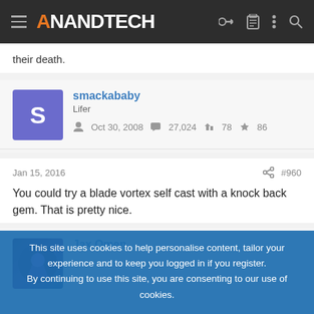AnandTech
their death.
smackababy
Lifer
Oct 30, 2008  27,024  78  86
Jan 15, 2016  #960
You could try a blade vortex self cast with a knock back gem. That is pretty nice.
Jax Omen
This site uses cookies to help personalise content, tailor your experience and to keep you logged in if you register.
By continuing to use this site, you are consenting to our use of cookies.